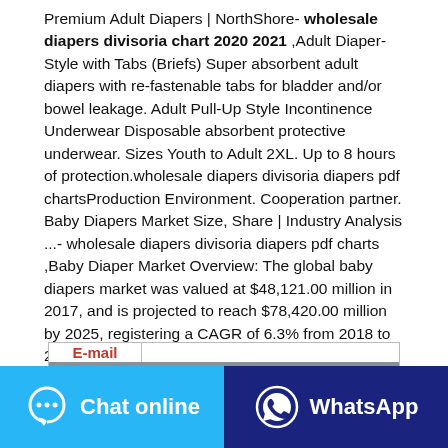Premium Adult Diapers | NorthShore- wholesale diapers divisoria chart 2020 2021 ,Adult Diaper-Style with Tabs (Briefs) Super absorbent adult diapers with re-fastenable tabs for bladder and/or bowel leakage. Adult Pull-Up Style Incontinence Underwear Disposable absorbent protective underwear. Sizes Youth to Adult 2XL. Up to 8 hours of protection.wholesale diapers divisoria diapers pdf chartsProduction Environment. Cooperation partner. Baby Diapers Market Size, Share | Industry Analysis ...- wholesale diapers divisoria diapers pdf charts ,Baby Diaper Market Overview: The global baby diapers market was valued at $48,121.00 million in 2017, and is projected to reach $78,420.00 million by 2025, registering a CAGR of 6.3% from 2018 to 2025.In 2017, the U.S. generated the highest ...
| E-mail | s@aogrand.com |
| --- | --- |
Chat online
WhatsApp